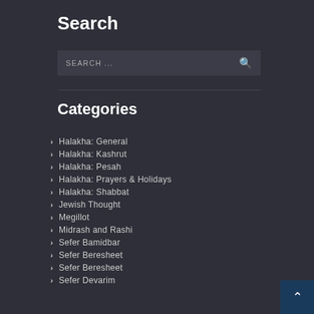Search
SEARCH ...
Categories
Halakha: General
Halakha: Kashrut
Halakha: Pesah
Halakha: Prayers & Holidays
Halakha: Shabbat
Jewish Thought
Megillot
Midrash and Rashi
Sefer Bamidbar
Sefer Beresheet
Sefer Beresheet
Sefer Devarim